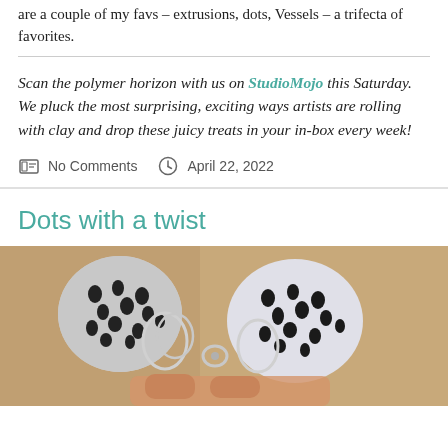are a couple of my favs – extrusions, dots, Vessels – a trifecta of favorites.
Scan the polymer horizon with us on StudioMojo this Saturday. We pluck the most surprising, exciting ways artists are rolling with clay and drop these juicy treats in your in-box every week!
No Comments   April 22, 2022
Dots with a twist
[Figure (photo): Photo of polymer clay earrings with black and white dotted pattern, circular shapes with silver wire loops, held by hand against a tan/brown background]